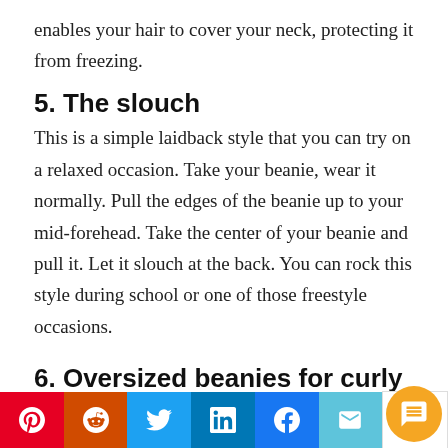enables your hair to cover your neck, protecting it from freezing.
5. The slouch
This is a simple laidback style that you can try on a relaxed occasion. Take your beanie, wear it normally. Pull the edges of the beanie up to your mid-forehead. Take the center of your beanie and pull it. Let it slouch at the back. You can rock this style during school or one of those freestyle occasions.
6. Oversized beanies for curly hair
Curly hair usually creates bumps on the beanie